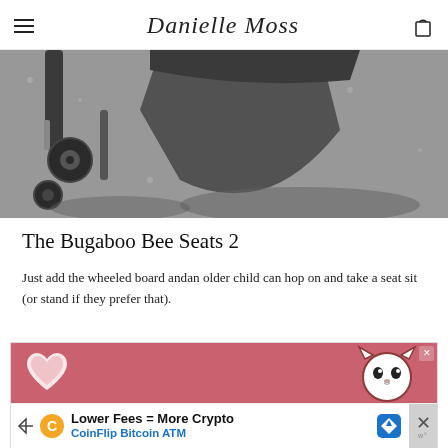Danielle Moss
[Figure (photo): Close-up photo of a Bugaboo stroller bottom, showing wheels on pavement/gravel surface, taken from above at an angle.]
The Bugaboo Bee Seats 2
Just add the wheeled board andan older child can hop on and take a seat sit (or stand if they prefer that).
[Figure (photo): Advertisement banner: pink background with heart graphic and cartoon cat/dog face. Lower portion shows CoinFlip Bitcoin ATM ad with text 'Lower Fees = More Crypto' and 'CoinFlip Bitcoin ATM'.]